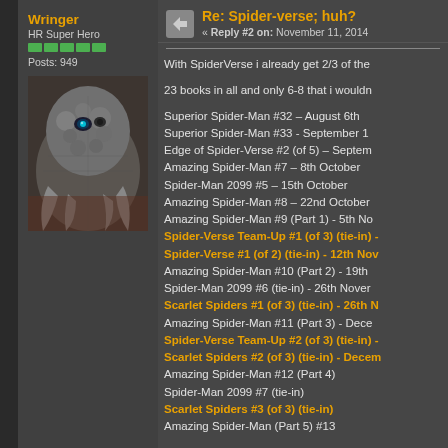Wringer
HR Super Hero
Posts: 949
[Figure (photo): Avatar image of a monstrous spider-like creature from Marvel comics, dark tones, close-up face with claws]
Re: Spider-verse; huh?
« Reply #2 on: November 11, 2014
With SpiderVerse i already get 2/3 of the
23 books in all and only 6-8 that i wouldn
Superior Spider-Man #32 – August 6th
Superior Spider-Man #33 - September 1
Edge of Spider-Verse #2 (of 5) – Septem
Amazing Spider-Man #7 – 8th October
Spider-Man 2099 #5 – 15th October
Amazing Spider-Man #8 – 22nd October
Amazing Spider-Man #9 (Part 1) - 5th No
Spider-Verse Team-Up #1 (of 3) (tie-in) -
Spider-Verse #1 (of 2) (tie-in) - 12th Nov
Amazing Spider-Man #10 (Part 2) - 19th
Spider-Man 2099 #6 (tie-in) - 26th Nover
Scarlet Spiders #1 (of 3) (tie-in) - 26th N
Amazing Spider-Man #11 (Part 3) - Dece
Spider-Verse Team-Up #2 (of 3) (tie-in) -
Scarlet Spiders #2 (of 3) (tie-in) - Decem
Amazing Spider-Man #12 (Part 4)
Spider-Man 2099 #7 (tie-in)
Scarlet Spiders #3 (of 3) (tie-in)
Amazing Spider-Man (Part 5) #13